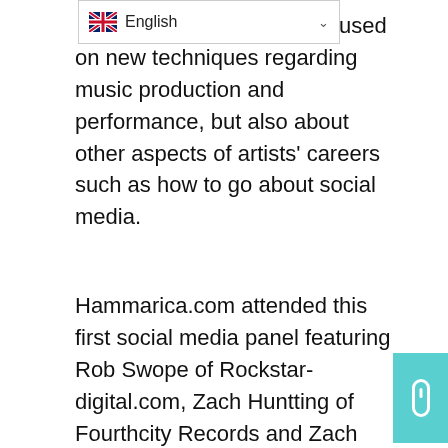[Figure (screenshot): Language selector dropdown showing UK flag and 'English' text with a chevron/arrow]
gram, mainly focused on new techniques regarding music production and performance, but also about other aspects of artists' careers such as how to go about social media.
Hammarica.com attended this first social media panel featuring Rob Swope of Rockstar-digital.com, Zach Huntting of Fourthcity Records and Zach Verdin of Newhive. In this day and age, artists are not only required to have a social media presence. They are presumed to take care of it all by themselves.
Rob Swope feels that every social medium has its own specific power to it and he doesn't believe so much in connecting all these different media with automated cross posting. According to him, each social network should be evaluated  to what it is used best for, and then utilized with this specific knowledge. IE a post